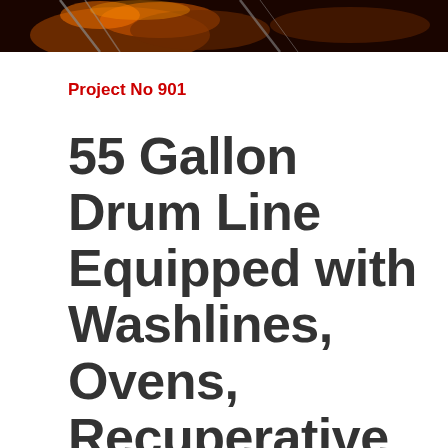[Figure (photo): Dark header image showing industrial flames or fire, with diagonal metallic elements visible against the dark background]
Project No 901
55 Gallon Drum Line Equipped with Washlines, Ovens, Recuperative Thermal Oxidizer and Heat Recovery Methods